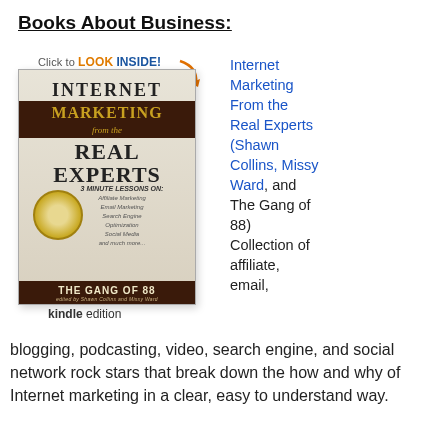Books About Business:
[Figure (photo): Book cover of 'Internet Marketing From the Real Experts' by The Gang of 88, Shawn Collins, Missy Ward. Shows a pocket watch on a laptop keyboard. Kindle edition badge. 'Click to LOOK INSIDE!' overlay at top.]
Internet Marketing From the Real Experts (Shawn Collins, Missy Ward, and The Gang of 88) Collection of affiliate, email, blogging, podcasting, video, search engine, and social network rock stars that break down the how and why of Internet marketing in a clear, easy to understand way.